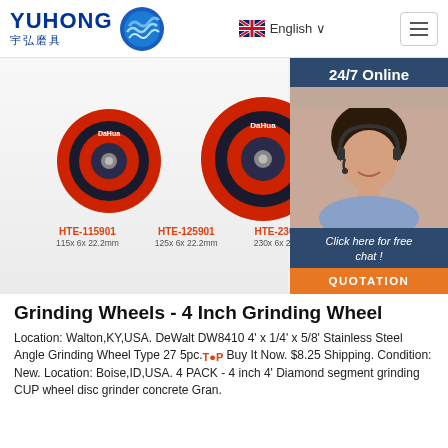[Figure (logo): Yuhong 宇弘磨具 logo with blue wave circle graphic, and navigation bar with English language selector and hamburger menu]
[Figure (photo): Product photo showing three DaHua grinding/cutting discs labeled HTE-115901 (115x6x22.2mm), HTE-125901 (125x6x22.2mm), and HTE-230 (230x6x22mm), with a 24/7 Online chat panel on the right showing a customer service agent and a QUOTATION button]
Grinding Wheels - 4 Inch Grinding Wheel
Location: Walton,KY,USA. DeWalt DW8410 4' x 1/4' x 5/8' Stainless Steel Angle Grinding Wheel Type 27 5pc.$... Buy It Now. $8.25 Shipping. Condition: New. Location: Boise,ID,USA. 4 PACK - 4 inch 4' Diamond segment grinding CUP wheel disc grinder concrete Gran.